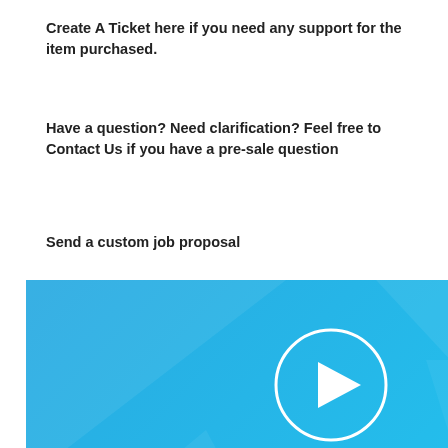Create A Ticket here if you need any support for the item purchased.
Have a question? Need clarification? Feel free to Contact Us if you have a pre-sale question
Send a custom job proposal
[Figure (illustration): Promotional banner with blue gradient background showing a play button circle icon, text 'MAKE PRODUCT VIDEOS WORK WITH YOUR SHOPIFY THEME. EASILY!' and a mockup of a browser window with a video player.]